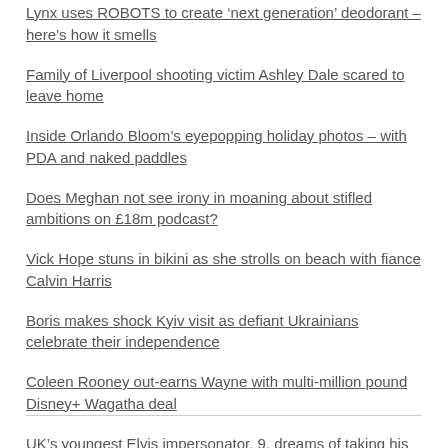Lynx uses ROBOTS to create ‘next generation’ deodorant – here’s how it smells
Family of Liverpool shooting victim Ashley Dale scared to leave home
Inside Orlando Bloom’s eyepopping holiday photos – with PDA and naked paddles
Does Meghan not see irony in moaning about stifled ambitions on £18m podcast?
Vick Hope stuns in bikini as she strolls on beach with fiance Calvin Harris
Boris makes shock Kyiv visit as defiant Ukrainians celebrate their independence
Coleen Rooney out-earns Wayne with multi-million pound Disney+ Wagatha deal
UK’s youngest Elvis impersonator, 9, dreams of taking his show to Las Vegas